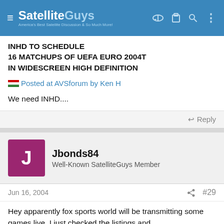SatelliteGuys — America's Best Satellite Discussion & So Much More!
INHD TO SCHEDULE 16 MATCHUPS OF UEFA EURO 2004T IN WIDESCREEN HIGH DEFINITION
Posted at AVSforum by Ken H
We need INHD....
Reply
Jbonds84
Well-Known SatelliteGuys Member
Jun 16, 2004   #29
Hey apparently fox sports world will be transmitting some games live. I just checked the listings and